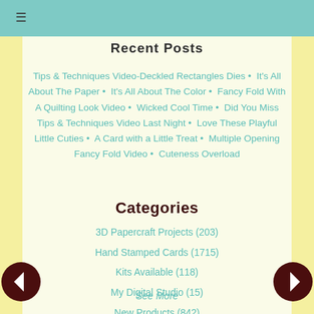≡
Recent Posts
Tips & Techniques Video-Deckled Rectangles Dies • It's All About The Paper • It's All About The Color • Fancy Fold With A Quilting Look Video • Wicked Cool Time • Did You Miss Tips & Techniques Video Last Night • Love These Playful Little Cuties • A Card with a Little Treat • Multiple Opening Fancy Fold Video • Cuteness Overload
Categories
3D Papercraft Projects (203)
Hand Stamped Cards (1715)
Kits Available (118)
My Digital Studio (15)
New Products (842)
See More